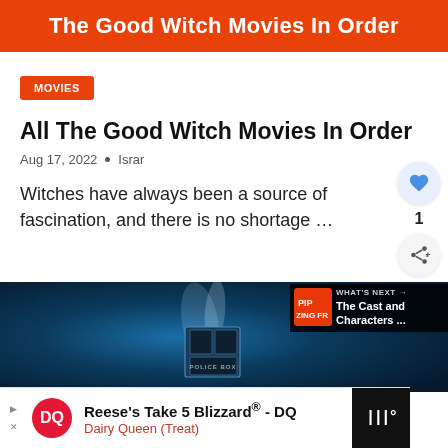[Figure (illustration): Orange/red banner with white bold text reading 'The Good Witch Movies In Order']
MOVIES
All The Good Witch Movies In Order
Aug 17, 2022 • Israr
Witches have always been a source of fascination, and there is no shortage …
[Figure (screenshot): Dark blue cinematic video thumbnail with a glowing box in the center, text 'POLICE BOX' visible at the bottom. Overlaid with 'WHAT'S NEXT' label and 'The Cast and Characters ...' text in a dark badge. Advertisement bar at bottom for Reese's Take 5 Blizzard - DQ, Dairy Queen (Treat).]